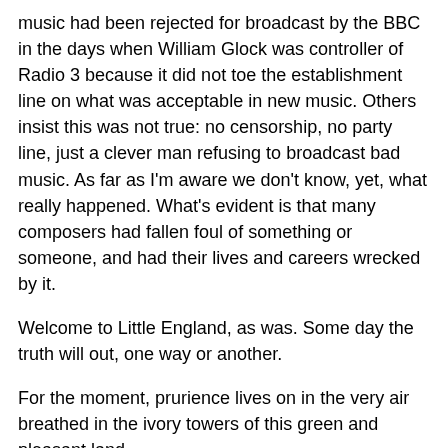music had been rejected for broadcast by the BBC in the days when William Glock was controller of Radio 3 because it did not toe the establishment line on what was acceptable in new music. Others insist this was not true: no censorship, no party line, just a clever man refusing to broadcast bad music. As far as I'm aware we don't know, yet, what really happened. What's evident is that many composers had fallen foul of something or someone, and had their lives and careers wrecked by it.
Welcome to Little England, as was. Some day the truth will out, one way or another.
For the moment, prurience lives on in the very air breathed in the ivory towers of this green and pleasant land.
I can't help remembering all those critics blustering that Heliane was 'blasphemous' and 'degenerate' - dearie me, it has tunes, it has harmonies, it is intensely emotional and it advocates the divine approval of a loving sexual relationship between a man and a woman. Apparently this makes it horrific, and worth restoring Nazi terminology for. Yet today